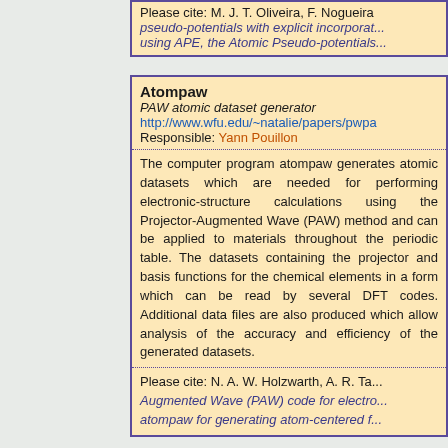Please cite: M. J. T. Oliveira, F. Nogueira, pseudo-potentials with explicit incorporat... using APE, the Atomic Pseudo-potentials...
Atompaw
PAW atomic dataset generator
http://www.wfu.edu/~natalie/papers/pwpa
Responsible: Yann Pouillon
The computer program atompaw generates atomic datasets which are needed for performing electronic-structure calculations using the Projector-Augmented Wave (PAW) method and can be applied to materials throughout the periodic table. The datasets containing the projector and basis functions for the chemical elements in a form which can be read by several DFT codes. Additional data files are also produced which allow analysis of the accuracy and efficiency of the generated datasets.
Please cite: N. A. W. Holzwarth, A. R. Ta... Augmented Wave (PAW) code for electro... atompaw for generating atom-centered f...
Bigdft
Wavelet-based electronic-structure calculations
http://inac.cea.fr/L_Sim/BigDFT/
Responsible: Damien Caliste
BigDFT is a DFT-based massively parallel code using a wavelet basis set. Wavelet basis set distributed on an adaptive mes...